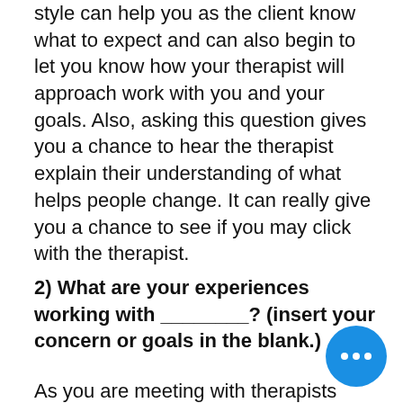style can help you as the client know what to expect and can also begin to let you know how your therapist will approach work with you and your goals. Also, asking this question gives you a chance to hear the therapist explain their understanding of what helps people change. It can really give you a chance to see if you may click with the therapist.
2) What are your experiences working with ________? (insert your concern or goals in the blank.)
As you are meeting with therapists asking about their experiences working with your concerns can begin to let you know if you are potentially a good fit.  It will also let you know